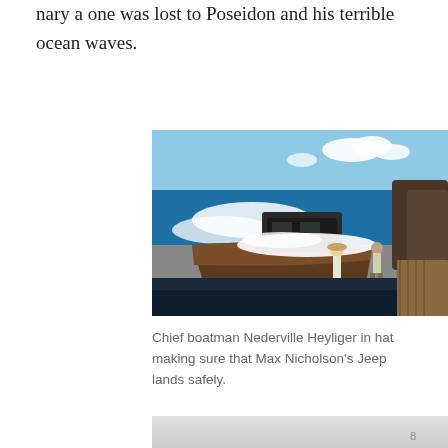nary a one was lost to Poseidon and his terrible ocean waves.
[Figure (photo): A boat near a dock with crashing waves and a Jeep being unloaded. Two people are visible on the dock and in the boat, with rocky cliffs in the background.]
Chief boatman Nederville Heyliger in hat making sure that Max Nicholson's Jeep lands safely.
[Figure (photo): Partial view of a second photograph, mostly light grey/white, cut off at the bottom of the page.]